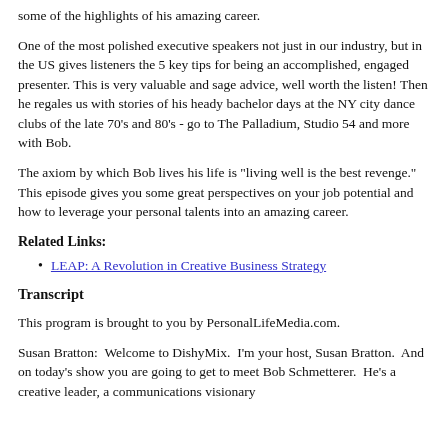some of the highlights of his amazing career.
One of the most polished executive speakers not just in our industry, but in the US gives listeners the 5 key tips for being an accomplished, engaged presenter. This is very valuable and sage advice, well worth the listen! Then he regales us with stories of his heady bachelor days at the NY city dance clubs of the late 70's and 80's - go to The Palladium, Studio 54 and more with Bob.
The axiom by which Bob lives his life is "living well is the best revenge." This episode gives you some great perspectives on your job potential and how to leverage your personal talents into an amazing career.
Related Links:
LEAP: A Revolution in Creative Business Strategy
Transcript
This program is brought to you by PersonalLifeMedia.com.
Susan Bratton:  Welcome to DishyMix.  I'm your host, Susan Bratton.  And on today's show you are going to get to meet Bob Schmetterer.  He's a creative leader, a communications visionary